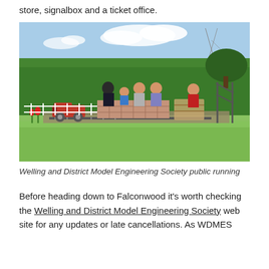store, signalbox and a ticket office.
[Figure (photo): Outdoor photo of people sitting on a miniature railway platform area with a red model steam locomotive on the track. Background shows a tall hedge, trees, and a pylon under a blue sky with clouds. Green lawn in foreground.]
Welling and District Model Engineering Society public running
Before heading down to Falconwood it’s worth checking the Welling and District Model Engineering Society web site for any updates or late cancellations. As WDMES